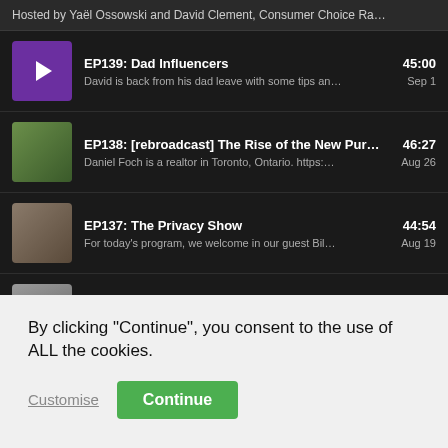Hosted by Yaël Ossowski and David Clement, Consumer Choice Ra…
EP139: Dad Influencers | 45:00 | David is back from his dad leave with some tips an… | Sep 1
EP138: [rebroadcast] The Rise of the New Purit… | 46:27 | Daniel Foch is a realtor in Toronto, Ontario. https:… | Aug 26
EP137: The Privacy Show | 44:54 | For today's program, we welcome in our guest Bil… | Aug 19
EP136: Language Massage | 44:49 | In this rip we hit on paid blood plasma, 87,000 ne… | Aug 12
By clicking "Continue", you consent to the use of ALL the cookies.
Customise
Continue